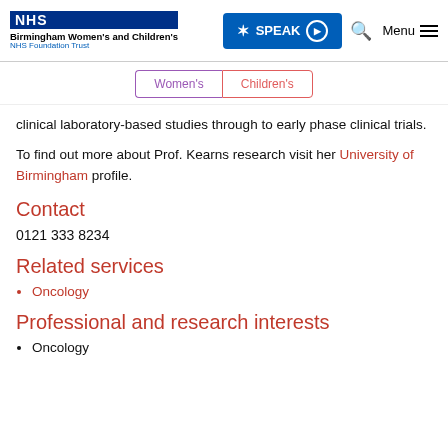NHS Birmingham Women's and Children's NHS Foundation Trust | SPEAK | Search | Menu
Women's | Children's
clinical laboratory-based studies through to early phase clinical trials.
To find out more about Prof. Kearns research visit her University of Birmingham profile.
Contact
0121 333 8234
Related services
Oncology
Professional and research interests
Oncology